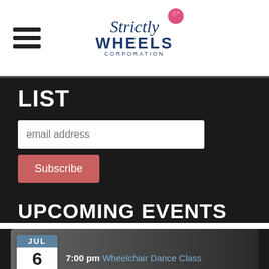[Figure (logo): Strictly Wheels Corporation logo with pink ball and blue text]
LIST
email address (input field)
Subscribe (button)
UPCOMING EVENTS
JUL 6 Wed — 7:00 pm Wheelchair Dance Class
JUL 13 Wed — 7:00 pm Wheelchair Closed Competition Class